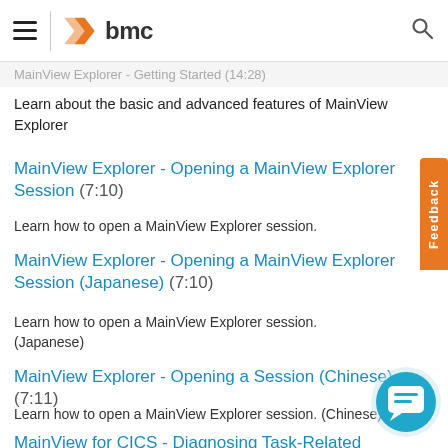BMC | MainView Explorer - Getting Started (14:28)
Learn about the basic and advanced features of MainView Explorer
MainView Explorer - Opening a MainView Explorer Session (7:10)
Learn how to open a MainView Explorer session.
MainView Explorer - Opening a MainView Explorer Session (Japanese) (7:10)
Learn how to open a MainView Explorer session. (Japanese)
MainView Explorer - Opening a Session (Chinese) (7:11)
Learn how to open a MainView Explorer session. (Chinese)
MainView for CICS - Diagnosing Task-Related